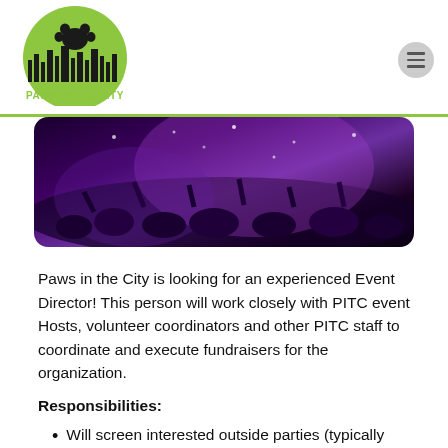[Figure (logo): Paws in the City logo with green paw print on green semicircle above city skyline silhouette and text 'PAWS IN THE CITY' in yellow-green]
[Figure (photo): Concert crowd scene with purple and violet lighting, confetti, and raised hands]
Paws in the City is looking for an experienced Event Director! This person will work closely with PITC event Hosts, volunteer coordinators and other PITC staff to coordinate and execute fundraisers for the organization.
Responsibilities:
Will screen interested outside parties (typically companies) that want to hold fundraisers for PITC.